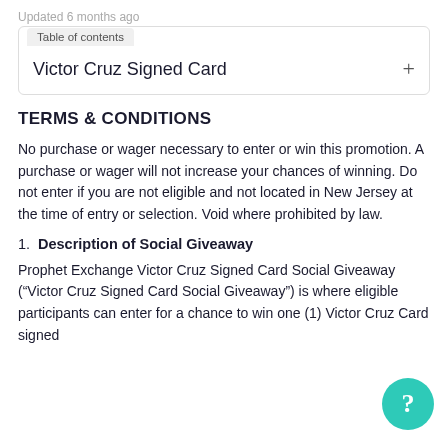Updated 6 months ago
Table of contents
Victor Cruz Signed Card
TERMS & CONDITIONS
No purchase or wager necessary to enter or win this promotion. A purchase or wager will not increase your chances of winning. Do not enter if you are not eligible and not located in New Jersey at the time of entry or selection. Void where prohibited by law.
1. Description of Social Giveaway
Prophet Exchange Victor Cruz Signed Card Social Giveaway (“Victor Cruz Signed Card Social Giveaway”) is where eligible participants can enter for a chance to win one (1) Victor Cruz Card signed